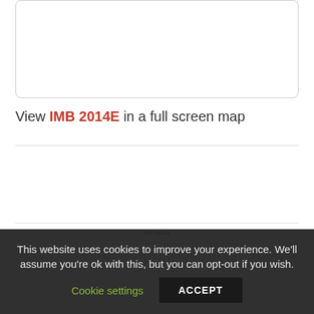[Figure (map): Rounded rectangle map container, empty/white interior]
View IMB 2014E in a full screen map
IMB 2014E
This website uses cookies to improve your experience. We'll assume you're ok with this, but you can opt-out if you wish. Cookie settings ACCEPT